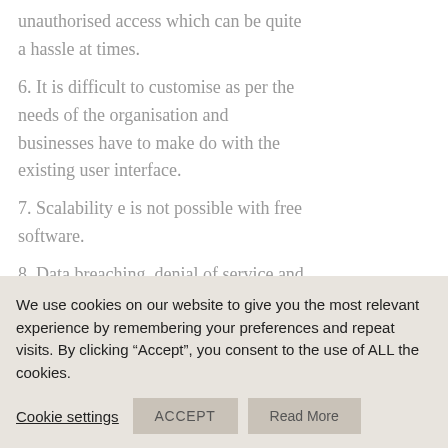unauthorised access which can be quite a hassle at times.
6. It is difficult to customise as per the needs of the organisation and businesses have to make do with the existing user interface.
7. Scalability e is not possible with free software.
8. Data breaching, denial of service and other problems related to security can still be possible in certain cases.
We use cookies on our website to give you the most relevant experience by remembering your preferences and repeat visits. By clicking “Accept”, you consent to the use of ALL the cookies.
Cookie settings  ACCEPT  Read More